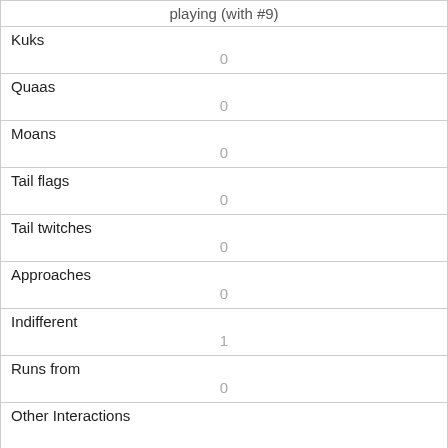| playing (with #9) |  |
| Kuks | 0 |
| Quaas | 0 |
| Moans | 0 |
| Tail flags | 0 |
| Tail twitches | 0 |
| Approaches | 0 |
| Indifferent | 1 |
| Runs from | 0 |
| Other Interactions |  |
| Lat/Long | POINT (-73.9707274055755 40.7723889080377) |